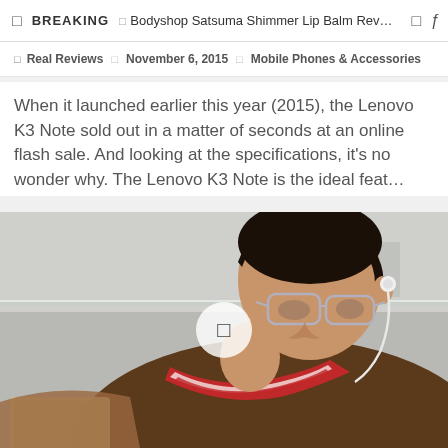BREAKING  □  Bodyshop Satsuma Shimmer Lip Balm Rev...
□ Real Reviews  □ November 6, 2015  □ Mobile Phones & Accessories
When it launched earlier this year (2015), the Lenovo K3 Note sold out in a matter of seconds at an online flash sale. And looking at the specifications, it's no wonder why. The Lenovo K3 Note is the ideal feat…
[Figure (photo): Young man wearing glasses and earphones, looking down at a tablet/phone, wearing a brown polo shirt with red and white stripe collar. Background is a blurred indoor setting.]